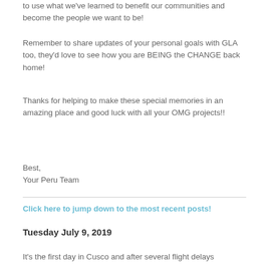to use what we've learned to benefit our communities and become the people we want to be!
Remember to share updates of your personal goals with GLA too, they'd love to see how you are BEING the CHANGE back home!
Thanks for helping to make these special memories in an amazing place and good luck with all your OMG projects!!
Best,
Your Peru Team
Click here to jump down to the most recent posts!
Tuesday July 9, 2019
It's the first day in Cusco and after several flight delays